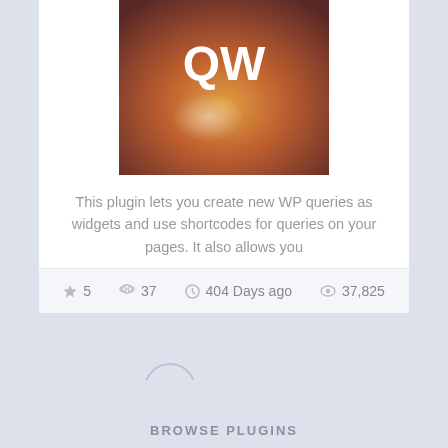[Figure (illustration): Plugin icon with gradient background (brown/orange/yellow tones) and white bold text 'QW' centered]
This plugin lets you create new WP queries as widgets and use shortcodes for queries on your pages. It also allows you
★ 5   👥 37   ⏱ 404 Days ago   👁 37,825
1 (active page)
2
3
4
BROWSE PLUGINS